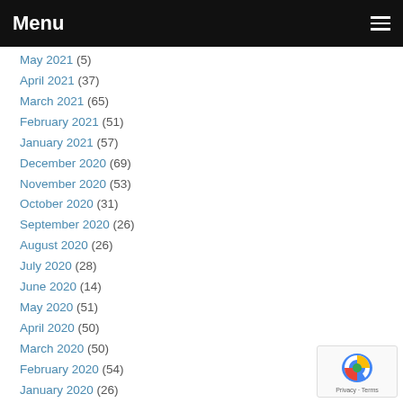Menu
May 2021 (5)
April 2021 (37)
March 2021 (65)
February 2021 (51)
January 2021 (57)
December 2020 (69)
November 2020 (53)
October 2020 (31)
September 2020 (26)
August 2020 (26)
July 2020 (28)
June 2020 (14)
May 2020 (51)
April 2020 (50)
March 2020 (50)
February 2020 (54)
January 2020 (26)
December 2019 (38)